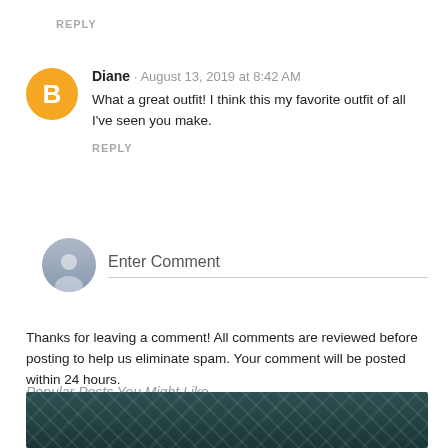REPLY
Diane · August 13, 2019 at 8:42 AM
What a great outfit! I think this my favorite outfit of all I've seen you make.
REPLY
Enter Comment
Thanks for leaving a comment! All comments are reviewed before posting to help us eliminate spam. Your comment will be posted within 24 hours.
Popular Posts You Might Like
[Figure (photo): Dark floral/botanical pattern image strip at bottom of page, dark teal/black background with white leaf and flower outlines]